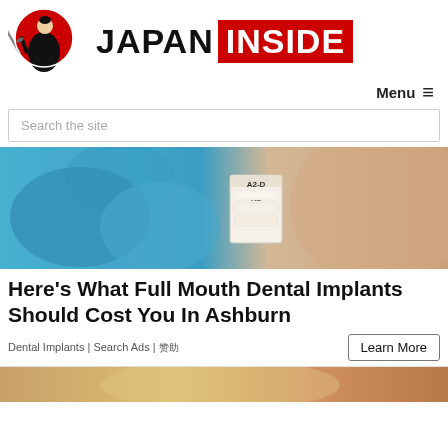[Figure (logo): Japan Inside logo: samurai warrior with red circle on left, JAPAN INSIDE text on right with INSIDE in red box]
Menu ≡
Search the site
[Figure (photo): Close-up of gloved hand holding a dental shade guide/color chart with teeth shades labeled A2-D, XL, C2]
Here's What Full Mouth Dental Implants Should Cost You In Ashburn
Dental Implants | Search Ads | 赞助
[Figure (photo): Bottom strip of another article image, partially visible]